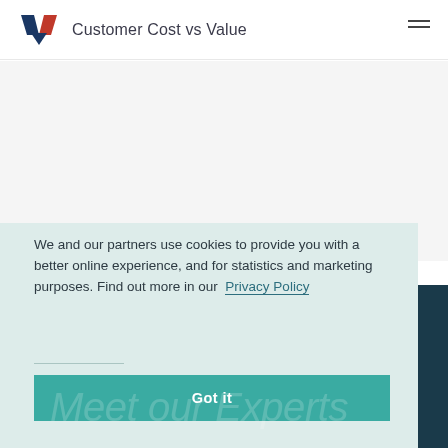Customer Cost vs Value
We and our partners use cookies to provide you with a better online experience, and for statistics and marketing purposes. Find out more in our Privacy Policy
Got it
Meet our Experts